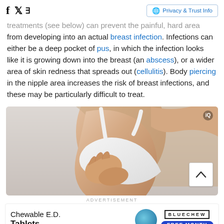Facebook | Twitter | Privacy & Trust Info
treatments (see below) can prevent the painful, hard area from developing into an actual breast infection. Infections can either be a deep pocket of pus, in which the infection looks like it is growing down into the breast (an abscess), or a wider area of skin redness that spreads out (cellulitis). Body piercing in the nipple area increases the risk of breast infections, and these may be particularly difficult to treat.
[Figure (photo): A woman holding her chest/breast area, wearing a white bra, medical context illustration]
ADVERTISEMENT
[Figure (other): Bluechew advertisement: Chewable E.D. Tablets with blue pill graphic and FREE MONTH button]